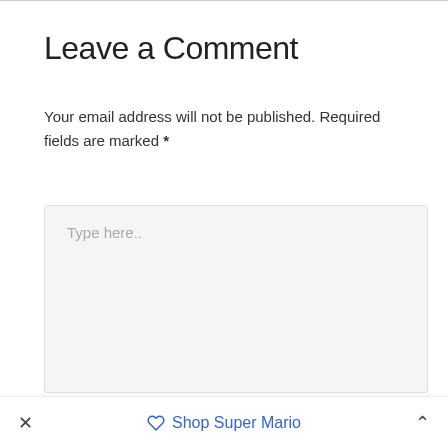Leave a Comment
Your email address will not be published. Required fields are marked *
[Figure (screenshot): A large light gray textarea input box with placeholder text 'Type here..']
× Shop Super Mario ∧